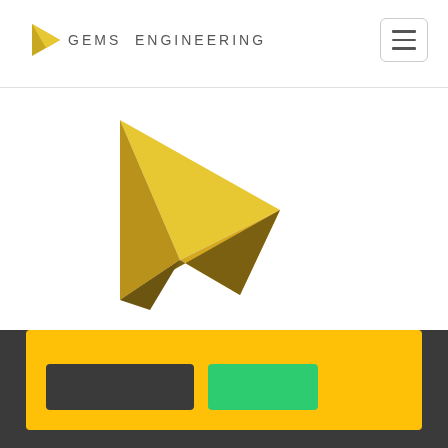[Figure (logo): GEMS ENGINEERING logo with a gold 3D arrow/pyramid shape pointing right, followed by text 'GEMS ENGINEERING' in grey spaced capital letters]
[Figure (other): Hamburger menu icon (three horizontal lines) inside a rounded rectangle button in the top right corner]
[Figure (illustration): Large 3D gold/yellow pyramid arrow pointing right, centered in the white hero section of the page]
[Figure (other): Yellow banner/card at the bottom of the hero section containing two buttons: a dark grey button and a green button, placed on a dark charcoal background]